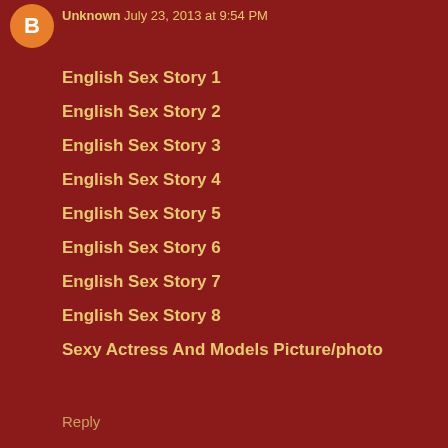Unknown July 23, 2013 at 9:54 PM
English Sex Story 1
English Sex Story 2
English Sex Story 3
English Sex Story 4
English Sex Story 5
English Sex Story 6
English Sex Story 7
English Sex Story 8
Sexy Actress And Models Picture/photo
Reply